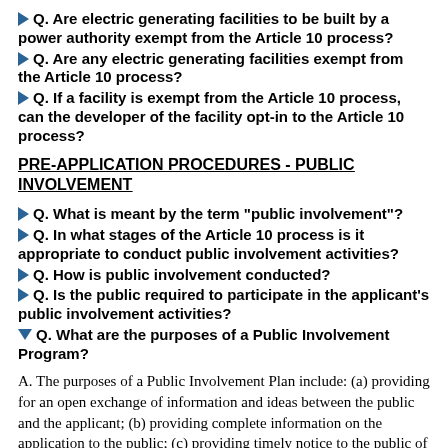Q. Are electric generating facilities to be built by a power authority exempt from the Article 10 process?
Q. Are any electric generating facilities exempt from the Article 10 process?
Q. If a facility is exempt from the Article 10 process, can the developer of the facility opt-in to the Article 10 process?
PRE-APPLICATION PROCEDURES - PUBLIC INVOLVEMENT
Q. What is meant by the term "public involvement"?
Q. In what stages of the Article 10 process is it appropriate to conduct public involvement activities?
Q. How is public involvement conducted?
Q. Is the public required to participate in the applicant's public involvement activities?
Q. What are the purposes of a Public Involvement Program?
A. The purposes of a Public Involvement Plan include: (a) providing for an open exchange of information and ideas between the public and the applicant; (b) providing complete information on the application to the public; (c) providing timely notice to the public of important events; (d) providing meaningful public input to key decisions; (e) fostering the active, early and continuing